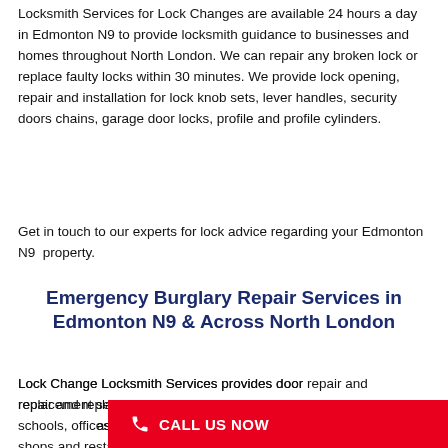Locksmith Services for Lock Changes are available 24 hours a day in Edmonton N9 to provide locksmith guidance to businesses and homes throughout North London. We can repair any broken lock or replace faulty locks within 30 minutes. We provide lock opening, repair and installation for lock knob sets, lever handles, security doors chains, garage door locks, profile and profile cylinders.
Get in touch to our experts for lock advice regarding your Edmonton N9  property.
Emergency Burglary Repair Services in Edmonton N9 & Across North London
Lock Change Locksmith Services provides door repair and replacement services for homes, schools, offices, and comm... as shops and restaurants i... around North London.